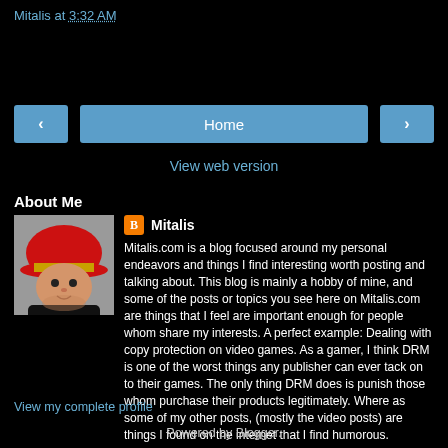Mitalis at 3:32 AM
Home
View web version
About Me
[Figure (photo): Profile photo of Mitalis wearing a red hat]
Mitalis
Mitalis.com is a blog focused around my personal endeavors and things I find interesting worth posting and talking about. This blog is mainly a hobby of mine, and some of the posts or topics you see here on Mitalis.com are things that I feel are important enough for people whom share my interests. A perfect example: Dealing with copy protection on video games. As a gamer, I think DRM is one of the worst things any publisher can ever tack on to their games. The only thing DRM does is punish those whom purchase their products legitimately. Where as some of my other posts, (mostly the video posts) are things I found on the internet that I find humorous.
View my complete profile
Powered by Blogger.